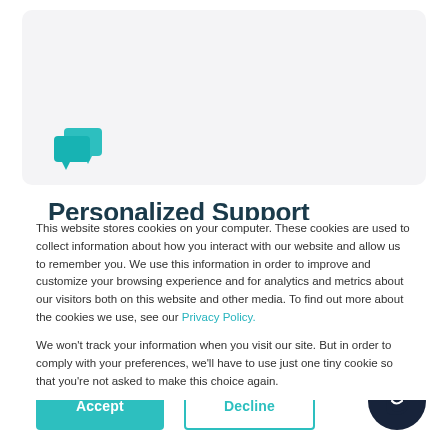[Figure (screenshot): Teal chat/messaging icon (two overlapping speech bubbles) in top-left of gray card area]
Personalized Support
This website stores cookies on your computer. These cookies are used to collect information about how you interact with our website and allow us to remember you. We use this information in order to improve and customize your browsing experience and for analytics and metrics about our visitors both on this website and other media. To find out more about the cookies we use, see our Privacy Policy.
We won't track your information when you visit our site. But in order to comply with your preferences, we'll have to use just one tiny cookie so that you're not asked to make this choice again.